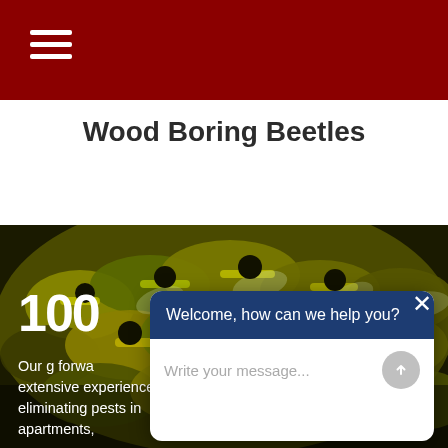≡ (hamburger menu)
Wood Boring Beetles
[Figure (photo): Close-up photograph of yellow and black wasps clustered together on a surface, with blurred background]
100
Our g... forwa... extensive experience eliminating pests in apartments,
Welcome, how can we help you? Write your message...